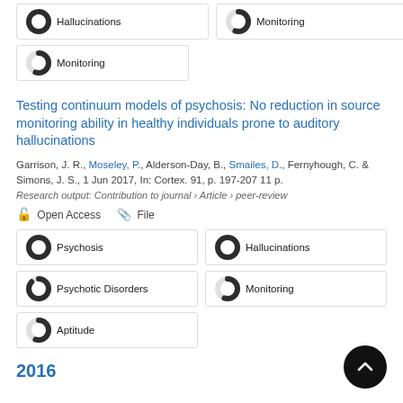[Figure (infographic): Two keyword badges from previous article: 'Hallucinations' (~95%) and 'Monitoring' (~55%)]
[Figure (infographic): One keyword badge: 'Monitoring' (~55%)]
Testing continuum models of psychosis: No reduction in source monitoring ability in healthy individuals prone to auditory hallucinations
Garrison, J. R., Moseley, P., Alderson-Day, B., Smailes, D., Fernyhough, C. & Simons, J. S., 1 Jun 2017, In: Cortex. 91, p. 197-207 11 p.
Research output: Contribution to journal › Article › peer-review
Open Access   File
[Figure (infographic): Five keyword badges: Psychosis (~100%), Psychotic Disorders (~85%), Aptitude (~55%), Hallucinations (~100%), Monitoring (~55%)]
2016